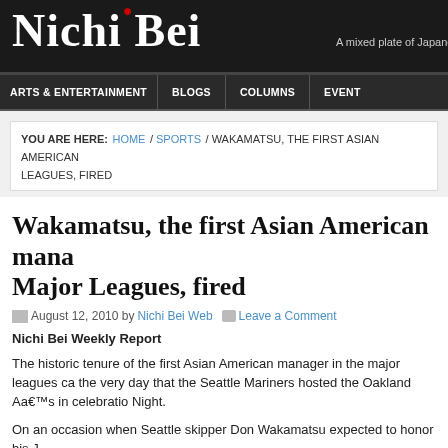Nichi Bei — A mixed plate of Japanese American News & C
ARTS & ENTERTAINMENT / BLOGS / COLUMNS / EVENT
YOU ARE HERE: HOME / SPORTS / WAKAMATSU, THE FIRST ASIAN AMERICAN LEAGUES, FIRED
Wakamatsu, the first Asian American mana Major Leagues, fired
August 12, 2010 by Nichi Bei Web  Leave a Comment
Nichi Bei Weekly Report
The historic tenure of the first Asian American manager in the major leagues ca the very day that the Seattle Mariners hosted the Oakland Aâ€™s in celebratio Night.
On an occasion when Seattle skipper Don Wakamatsu expected to honor his J